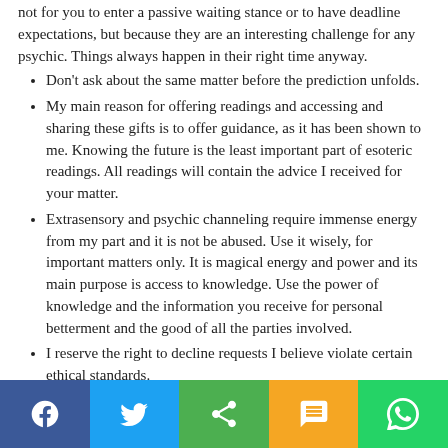not for you to enter a passive waiting stance or to have deadline expectations, but because they are an interesting challenge for any psychic. Things always happen in their right time anyway.
Don't ask about the same matter before the prediction unfolds.
My main reason for offering readings and accessing and sharing these gifts is to offer guidance, as it has been shown to me. Knowing the future is the least important part of esoteric readings. All readings will contain the advice I received for your matter.
Extrasensory and psychic channeling require immense energy from my part and it is not be abused. Use it wisely, for important matters only. It is magical energy and power and its main purpose is access to knowledge. Use the power of knowledge and the information you receive for personal betterment and the good of all the parties involved.
I reserve the right to decline requests I believe violate certain ethical standards.
Social share bar: Facebook, Twitter, Share, SMS, WhatsApp